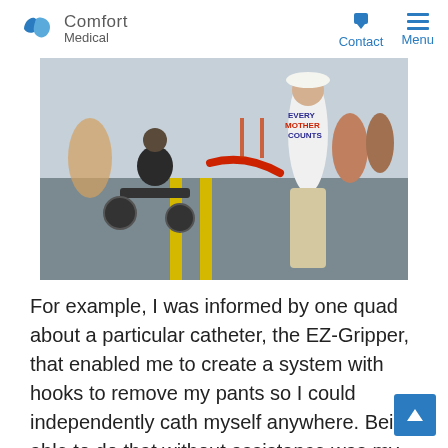Comfort Medical | Contact | Menu
[Figure (photo): A person in a wheelchair at what appears to be a marathon or outdoor event, being handed something red by a person wearing a white t-shirt that reads 'EVERY MOTHER COUNTS' with a patriotic design.]
For example, I was informed by one quad about a particular catheter, the EZ-Gripper, that enabled me to create a system with hooks to remove my pants so I could independently cath myself anywhere. Being able to do that without assistance was my biggest